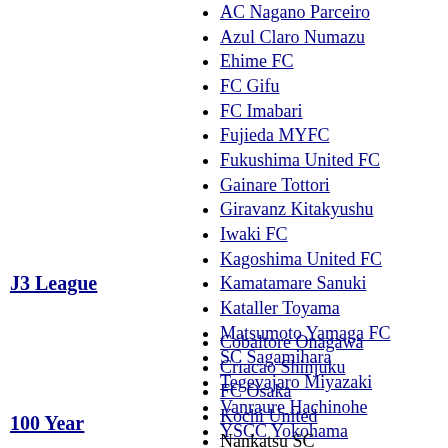AC Nagano Parceiro
Azul Claro Numazu
Ehime FC
FC Gifu
FC Imabari
Fujieda MYFC
Fukushima United FC
Gainare Tottori
Giravanz Kitakyushu
J3 League
Iwaki FC
Kagoshima United FC
Kamatamare Sanuki
Kataller Toyama
Matsumoto Yamaga FC
SC Sagamihara
Tegevajaro Miyazaki
Vanraure Hachinohe
YSCC Yokohama
Cobaltore Onagawa
Criacao Shinjuku
FC Osaka
Kochi United
Nankatsu SC
Okinawa SV
100 Year